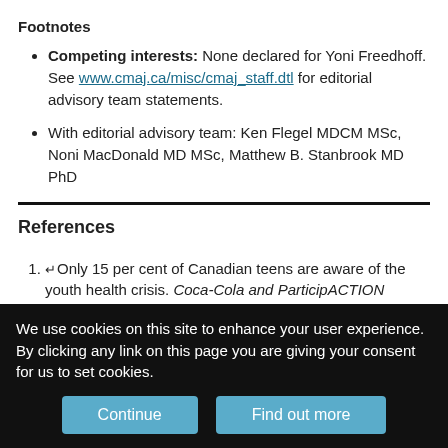Footnotes
Competing interests: None declared for Yoni Freedhoff. See www.cmaj.ca/misc/cmaj_staff.dtl for editorial advisory team statements.
With editorial advisory team: Ken Flegel MDCM MSc, Noni MacDonald MD MSc, Matthew B. Stanbrook MD PhD
References
↵Only 15 per cent of Canadian teens are aware of the youth health crisis. Coca-Cola and ParticipACTION challenge youth to solve the inactivity crisis. Available: www.newswire.ca/en/releases/archive/August2010/10/c9507.html
We use cookies on this site to enhance your user experience. By clicking any link on this page you are giving your consent for us to set cookies.